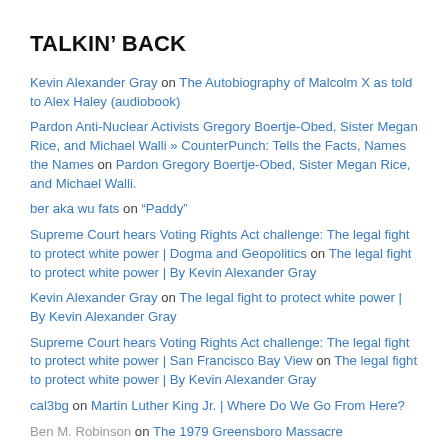TALKIN’ BACK
Kevin Alexander Gray on The Autobiography of Malcolm X as told to Alex Haley (audiobook)
Pardon Anti-Nuclear Activists Gregory Boertje-Obed, Sister Megan Rice, and Michael Walli » CounterPunch: Tells the Facts, Names the Names on Pardon Gregory Boertje-Obed, Sister Megan Rice, and Michael Walli.
ber aka wu fats on “Paddy”
Supreme Court hears Voting Rights Act challenge: The legal fight to protect white power | Dogma and Geopolitics on The legal fight to protect white power | By Kevin Alexander Gray
Kevin Alexander Gray on The legal fight to protect white power | By Kevin Alexander Gray
Supreme Court hears Voting Rights Act challenge: The legal fight to protect white power | San Francisco Bay View on The legal fight to protect white power | By Kevin Alexander Gray
cal3bg on Martin Luther King Jr. | Where Do We Go From Here?
Ben M. Robinson on The 1979 Greensboro Massacre